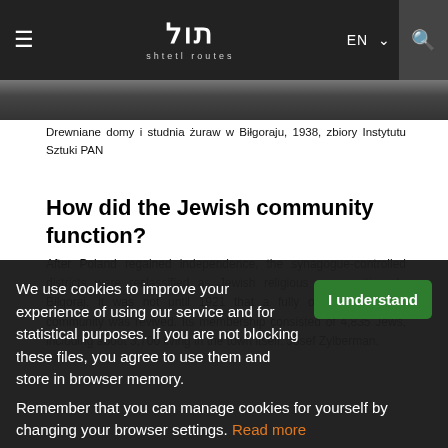shtetl routes — EN navigation
[Figure (photo): Partial view of historical black and white photograph strip]
Drewniane domy i studnia żuraw w Biłgoraju, 1938, zbiory Instytutu Sztuki PAN
How did the Jewish community function?
After Poland regained independence, the synagogue-controlled districts were reclassified as Jewish religious communities. In Biłgoraj, it was not until 1921 that a fully organised Jewish community was revived. Its membership consisted of 4,835 Jews, including about 3,700 living in the town itself. Josef Zylberman, who addressed the first Rabbi Jacob Mo...
We use cookies to improve your experience of using our service and for statistical purposes. If you are not blocking these files, you agree to use them and store in browser memory. Remember that you can manage cookies for yourself by changing your browser settings. Read more